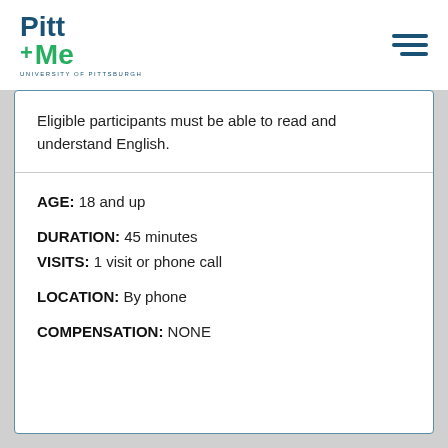[Figure (logo): Pitt+Me University of Pittsburgh logo with hamburger menu icon]
Eligible participants must be able to read and understand English.
AGE: 18 and up
DURATION: 45 minutes
VISITS: 1 visit or phone call
LOCATION: By phone
COMPENSATION: NONE